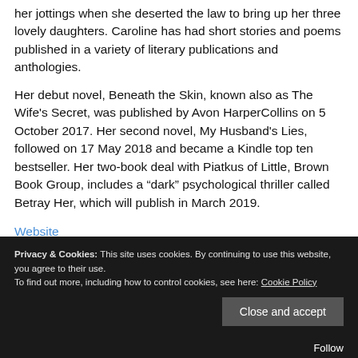her jottings when she deserted the law to bring up her three lovely daughters. Caroline has had short stories and poems published in a variety of literary publications and anthologies.
Her debut novel, Beneath the Skin, known also as The Wife's Secret, was published by Avon HarperCollins on 5 October 2017. Her second novel, My Husband's Lies, followed on 17 May 2018 and became a Kindle top ten bestseller. Her two-book deal with Piatkus of Little, Brown Book Group, includes a “dark” psychological thriller called Betray Her, which will publish in March 2019.
Website
Privacy & Cookies: This site uses cookies. By continuing to use this website, you agree to their use.
To find out more, including how to control cookies, see here: Cookie Policy
Close and accept
Follow